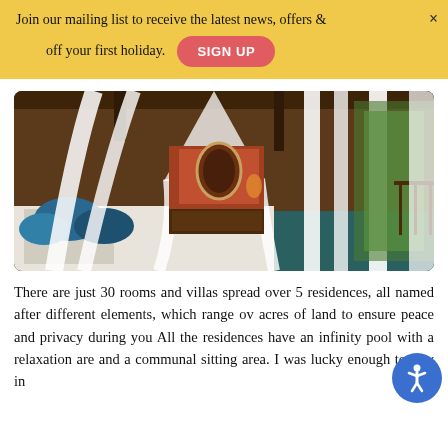Join our mailing list to receive the latest news, offers off your first holiday.
[Figure (photo): Luxury hotel room with white canopy curtains draped over a bed with blue pillows, ornate dresser with mirror in background, and open doors leading to a tropical balcony with lush greenery.]
There are just 30 rooms and villas spread over 5 residences, all named after different elements, which range over acres of land to ensure peace and privacy during you. All the residences have an infinity pool with a relaxation area and a communal sitting area. I was lucky enough to stay in